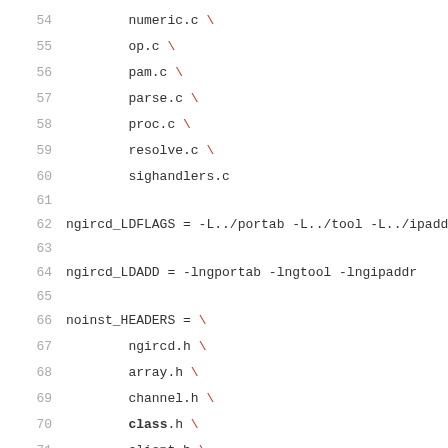54    numeric.c \
55    op.c \
56    pam.c \
57    parse.c \
58    proc.c \
59    resolve.c \
60    sighandlers.c
61
62 ngircd_LDFLAGS = -L../portab -L../tool -L../ipaddr
63
64 ngircd_LDADD = -lngportab -lngtool -lngipaddr
65
66 noinst_HEADERS = \
67    ngircd.h \
68    array.h \
69    channel.h \
70    class.h \
71    client.h \
72    client-cap.h \
73    conf.h \
74    conf-ssl.h \
75    conn.h \